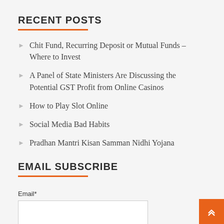RECENT POSTS
Chit Fund, Recurring Deposit or Mutual Funds – Where to Invest
A Panel of State Ministers Are Discussing the Potential GST Profit from Online Casinos
How to Play Slot Online
Social Media Bad Habits
Pradhan Mantri Kisan Samman Nidhi Yojana
EMAIL SUBSCRIBE
Email*